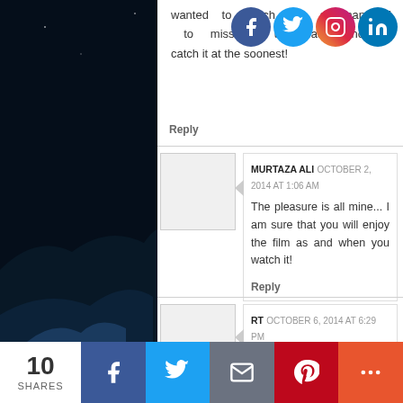wanted to watch this and managed to miss it up its release... I hope to catch it at the soonest!
Reply
MURTAZA ALI  OCTOBER 2, 2014 AT 1:06 AM
The pleasure is all mine... I am sure that you will enjoy the film as and when you watch it!
Reply
RT  OCTOBER 6, 2014 AT 6:29 PM
Is this film hit
Reply